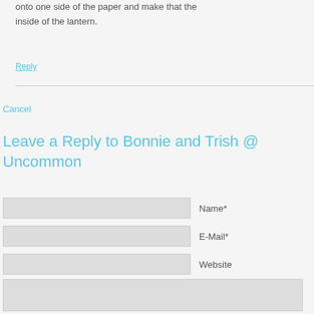onto one side of the paper and make that the inside of the lantern.
Reply
Cancel
Leave a Reply to Bonnie and Trish @ Uncommon
Name*
E-Mail*
Website